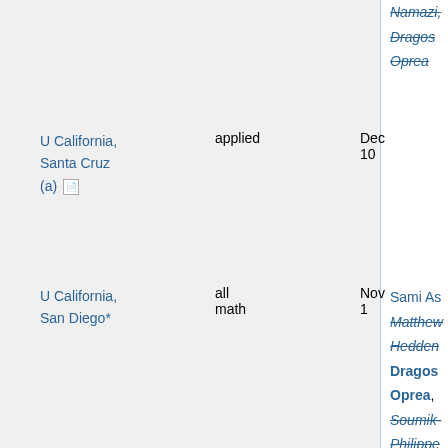| Institution | Area | Deadline | Names |
| --- | --- | --- | --- |
| Namazi, Dragos Oprea |  |  |  |
| U California, Santa Cruz (a) [doc] | applied | Dec 10 |  |
| U California, San Diego* | all math | Nov 1 | Sami As..., Matthew Hedden, Dragos Oprea, Soumik ..., Philippe Rigollet, Sebastie... Roch, Lu... Silvestre, Jan Vondrak..., Ben Weinko..., Craig Westerla... |